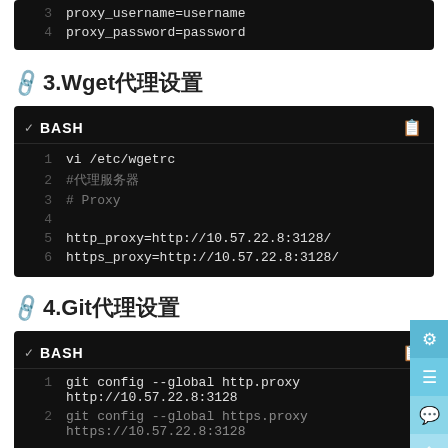[Figure (screenshot): Top portion of a BASH code block showing lines 3 and 4: proxy_username=username and proxy_password=password]
3.Wget代理设置
[Figure (screenshot): BASH code block for Wget proxy configuration: vi /etc/wgetrc, #代理服务器, # Proxy, (blank), http_proxy=http://10.57.22.8:3128/, https_proxy=http://10.57.22.8:3128/]
4.Git代理设置
[Figure (screenshot): BASH code block for Git proxy configuration: git config --global http.proxy http://10.57.22.8:3128 and git config --global https.proxy https://10.57.22.8:3128]